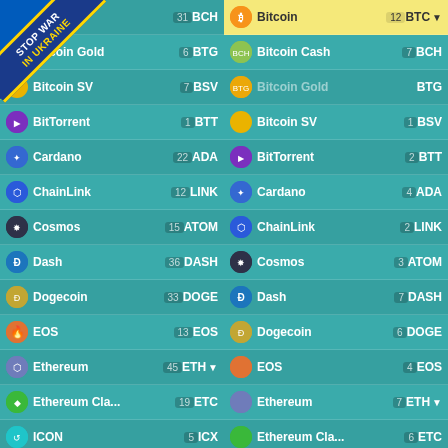[Figure (screenshot): Stop War In Ukraine banner overlay on top-left corner]
Bitcoin Cash 31 BCH
Bitcoin Gold 6 BTG
Bitcoin SV 7 BSV
BitTorrent 1 BTT
Cardano 22 ADA
ChainLink 12 LINK
Cosmos 15 ATOM
Dash 36 DASH
Dogecoin 33 DOGE
EOS 13 EOS
Ethereum 45 ETH
Ethereum Cla... 19 ETC
ICON 5 ICX
Lisk 4 LSK
Litecoin 43 LTC
Monero 33 XMR
Bitcoin 12 BTC
Bitcoin Cash 7 BCH
Bitcoin Gold BTG
Bitcoin SV 1 BSV
BitTorrent 2 BTT
Cardano 4 ADA
ChainLink 2 LINK
Cosmos 3 ATOM
Dash 7 DASH
Dogecoin 6 DOGE
EOS 4 EOS
Ethereum 7 ETH
Ethereum Cla... 6 ETC
ICON 1 ICX
IOTA IOTA
Lisk 1 LSK